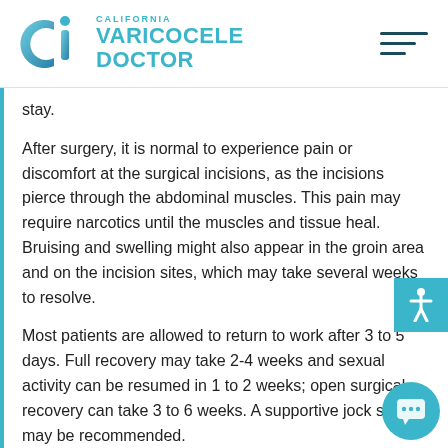[Figure (logo): California Varicocele Doctor logo with CVI icon in teal/blue gradient and hamburger menu icon]
stay.
After surgery, it is normal to experience pain or discomfort at the surgical incisions, as the incisions pierce through the abdominal muscles. This pain may require narcotics until the muscles and tissue heal. Bruising and swelling might also appear in the groin area and on the incision sites, which may take several weeks to resolve.
Most patients are allowed to return to work after 3 to 5 days. Full recovery may take 2-4 weeks and sexual activity can be resumed in 1 to 2 weeks; open surgical recovery can take 3 to 6 weeks. A supportive jock strap may be recommended.